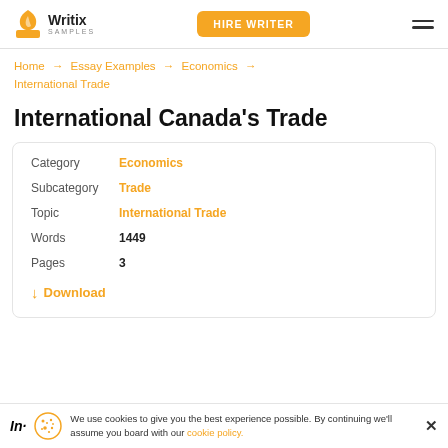Writix SAMPLES | HIRE WRITER
Home → Essay Examples → Economics → International Trade
International Canada's Trade
| Field | Value |
| --- | --- |
| Category | Economics |
| Subcategory | Trade |
| Topic | International Trade |
| Words | 1449 |
| Pages | 3 |
|  | ↓ Download |
We use cookies to give you the best experience possible. By continuing we'll assume you board with our cookie policy.